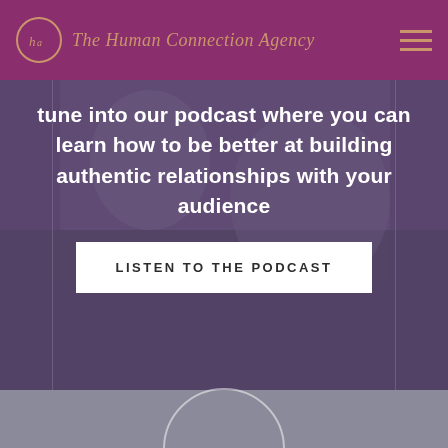The Human Connection Agency
tune into our podcast where you can learn how to be better at building authentic relationships with your audience
LISTEN TO THE PODCAST
THREE